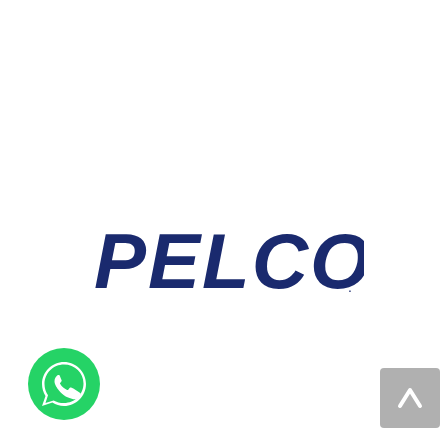[Figure (logo): PELCO brand logo in dark navy blue bold italic lettering on white background]
[Figure (other): WhatsApp chat button - green circle with white phone handset icon]
[Figure (other): Scroll to top button - grey square with white upward arrow]